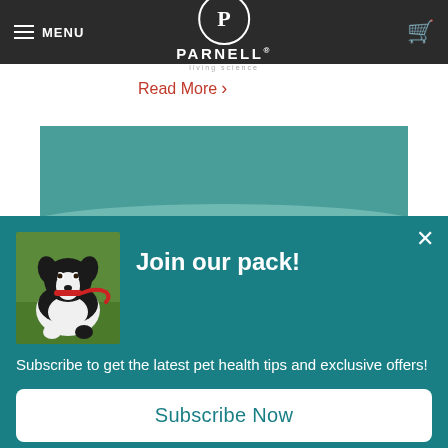MENU | PARNELL Living Science
Read More >
[Figure (photo): Beach scene with ocean waves meeting a sandy shore, with partial view of dogs at the bottom]
[Figure (photo): Black and white border collie dog holding a red leash in its mouth, sitting on grass]
Join our pack!
Subscribe to get the latest pet health tips and exclusive offers!
Subscribe Now